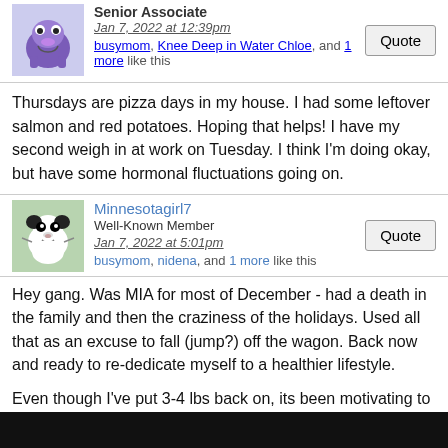Senior Associate
Jan 7, 2022 at 12:39pm
busymom, Knee Deep in Water Chloe, and 1 more like this
Thursdays are pizza days in my house. I had some leftover salmon and red potatoes. Hoping that helps! I have my second weigh in at work on Tuesday. I think I'm doing okay, but have some hormonal fluctuations going on.
Minnesotagirl7
Well-Known Member
Jan 7, 2022 at 5:01pm
busymom, nidena, and 1 more like this
Hey gang. Was MIA for most of December - had a death in the family and then the craziness of the holidays. Used all that as an excuse to fall (jump?) off the wagon. Back now and ready to re-dedicate myself to a healthier lifestyle.
Even though I've put 3-4 lbs back on, its been motivating to hear a couple people tell me I look like I've lost weight.
I'll post an updated weight Tuesday, along with some short- and long-term goals.
Keep up the great work everyone!